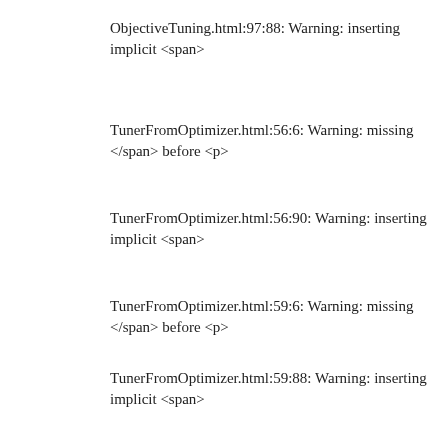ObjectiveTuning.html:97:88: Warning: inserting implicit <span>
TunerFromOptimizer.html:56:6: Warning: missing </span> before <p>
TunerFromOptimizer.html:56:90: Warning: inserting implicit <span>
TunerFromOptimizer.html:59:6: Warning: missing </span> before <p>
TunerFromOptimizer.html:59:88: Warning: inserting implicit <span>
TunerFromOptimizer.html:62:6: Warning: missing </span> before <p>
TunerFromOptimizer.html:62:88: Warning: inserting implicit